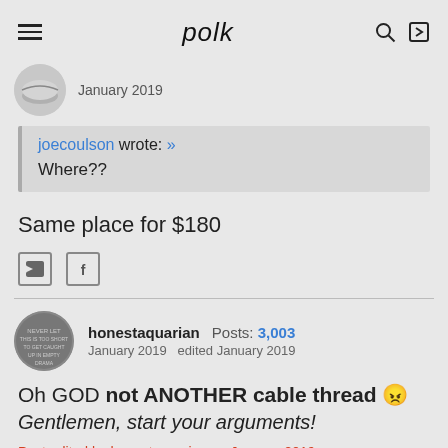polk
January 2019
joecoulson wrote: » Where??
Same place for $180
honestaquarian  Posts: 3,003  January 2019  edited January 2019
Oh GOD not ANOTHER cable thread 😠 Gentlemen, start your arguments!
Post edited by honestaquarian on January 2019